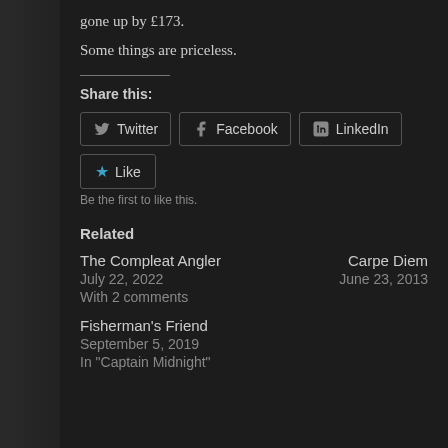gone up by £173.
Some things are priceless.
Share this:
Twitter  Facebook  LinkedIn
Like
Be the first to like this.
Related
The Compleat Angler
July 22, 2022
With 2 comments
Carpe Diem
June 23, 2013
Fisherman's Friend
September 5, 2019
In "Captain Midnight"